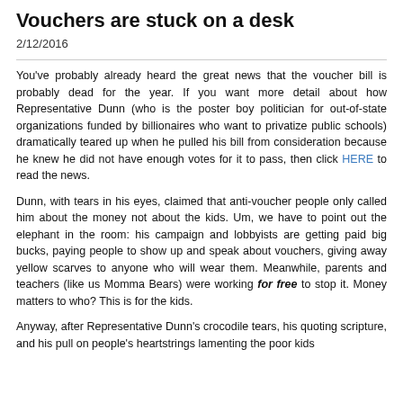Vouchers are stuck on a desk
2/12/2016
You've probably already heard the great news that the voucher bill is probably dead for the year.  If you want more detail about how Representative Dunn (who is the poster boy politician for out-of-state organizations funded by billionaires who want to privatize public schools) dramatically teared up when he pulled his bill from consideration because he knew he did not have enough votes for it to pass, then click HERE to read the news.
Dunn, with tears in his eyes, claimed that anti-voucher people only called him about the money not about the kids.  Um, we have to point out the elephant in the room: his campaign and lobbyists are getting paid big bucks, paying people to show up and speak about vouchers, giving away yellow scarves to anyone who will wear them.  Meanwhile, parents and teachers (like us Momma Bears) were working for free to stop it.  Money matters to who? This is for the kids.
Anyway, after Representative Dunn's crocodile tears, his quoting scripture, and his pull on people's heartstrings lamenting the poor kids